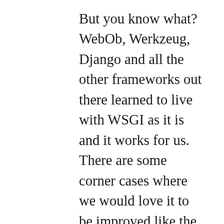But you know what? WebOb, Werkzeug, Django and all the other frameworks out there learned to live with WSGI as it is and it works for us. There are some corner cases where we would love it to be improved like the input thing, but it's hardly something that's worth breaking API over. We already wrote the code and coming up with a new spec at that point mostly just supports the “the great thing about standards is that there are so many to chose from” sentiment. Especially now that WSGI was just extended to deal with Python 3's unicode behavior we have to be very